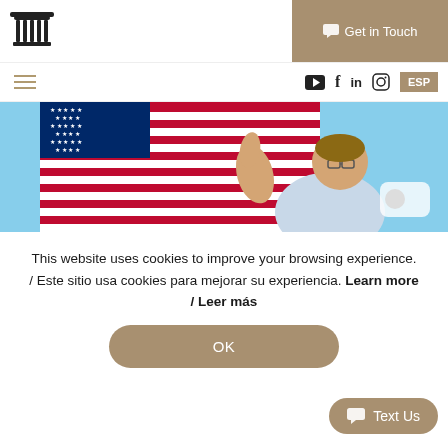[Figure (logo): Building/columns logo icon in black]
Get in Touch
Social media icons: YouTube, Facebook, LinkedIn, Instagram
ESP
[Figure (photo): Man giving thumbs up in front of American flag with blue sky background]
This website uses cookies to improve your browsing experience. / Este sitio usa cookies para mejorar su experiencia. Learn more / Leer más
OK
Text Us